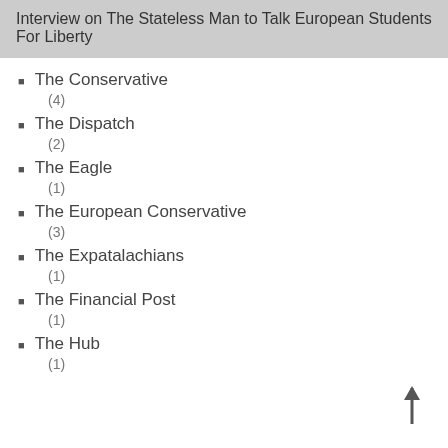Interview on The Stateless Man to Talk European Students For Liberty
The Conservative
(4)
The Dispatch
(2)
The Eagle
(1)
The European Conservative
(3)
The Expatalachians
(1)
The Financial Post
(1)
The Hub
(1)